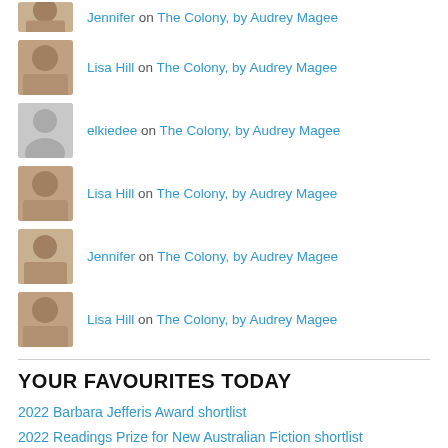[Figure (photo): Avatar photo of Jennifer (partial, clipped at top)]
Jennifer on The Colony, by Audrey Magee
[Figure (photo): Avatar photo of Lisa Hill]
Lisa Hill on The Colony, by Audrey Magee
[Figure (photo): Default grey avatar for elkiedee]
elkiedee on The Colony, by Audrey Magee
[Figure (photo): Avatar photo of Lisa Hill]
Lisa Hill on The Colony, by Audrey Magee
[Figure (photo): Avatar photo of Jennifer]
Jennifer on The Colony, by Audrey Magee
[Figure (photo): Avatar photo of Lisa Hill]
Lisa Hill on The Colony, by Audrey Magee
YOUR FAVOURITES TODAY
2022 Barbara Jefferis Award shortlist
2022 Readings Prize for New Australian Fiction shortlist
The Colony, by Audrey Magee
In the Fog of the Seasons' End, by Alex La Guma
Things We Didn't See Coming, by Steven Amsterdam